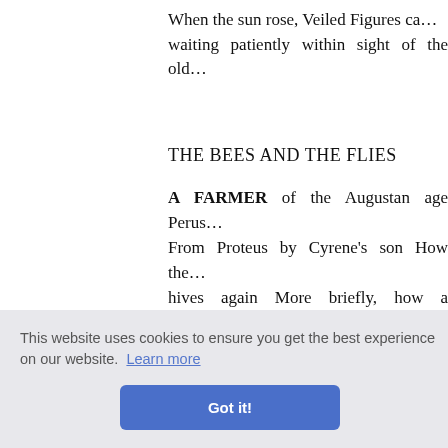When the sun rose, Veiled Figures ca… waiting patiently within sight of the old…
THE BEES AND THE FLIES
A FARMER of the Augustan age Perus… From Proteus by Cyrene's son How the… hives again More briefly, how a slaught…
The egregious rustic put to death A bu… shed With fragrant herbs and branches… …rm.
…f Day Im… …arcass sw… …ny doubt…
…ore hives… key and kettle. Sweet music that shall…
This website uses cookies to ensure you get the best experience on our website. Learn more
Got it!